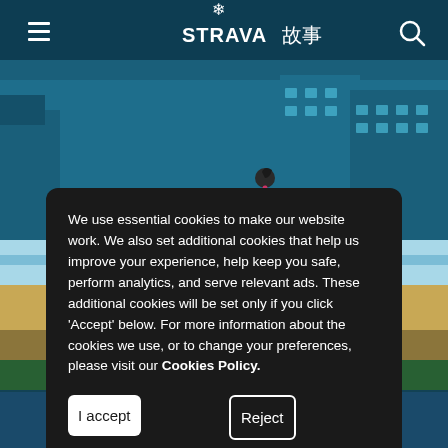[Figure (screenshot): Strava Stories website header with navigation (hamburger menu, STRAVA 故事 logo with snowflake, search icon) and illustrated city running scene background. A running figure illustration and a sunglasses emoji are visible over a colorful urban illustration background.]
We use essential cookies to make our website work. We also set additional cookies that help us improve your experience, help keep you safe, perform analytics, and serve relevant ads. These additional cookies will be set only if you click 'Accept' below. For more information about the cookies we use, or to change your preferences, please visit our Cookies Policy.
I accept
Reject